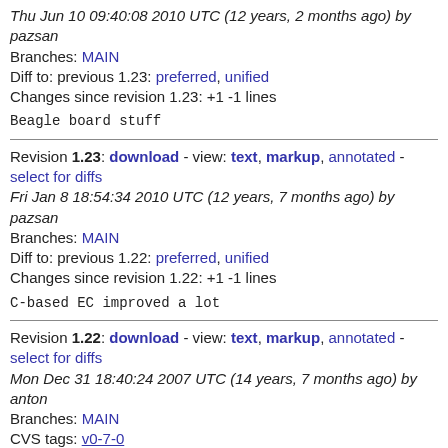Thu Jun 10 09:40:08 2010 UTC (12 years, 2 months ago) by pazsan
Branches: MAIN
Diff to: previous 1.23: preferred, unified
Changes since revision 1.23: +1 -1 lines
Beagle board stuff
Revision 1.23: download - view: text, markup, annotated - select for diffs
Fri Jan 8 18:54:34 2010 UTC (12 years, 7 months ago) by pazsan
Branches: MAIN
Diff to: previous 1.22: preferred, unified
Changes since revision 1.22: +1 -1 lines
C-based EC improved a lot
Revision 1.22: download - view: text, markup, annotated - select for diffs
Mon Dec 31 18:40:24 2007 UTC (14 years, 7 months ago) by anton
Branches: MAIN
CVS tags: v0-7-0
Diff to: previous 1.21: preferred, unified
Changes since revision 1.21: +2 -3 lines